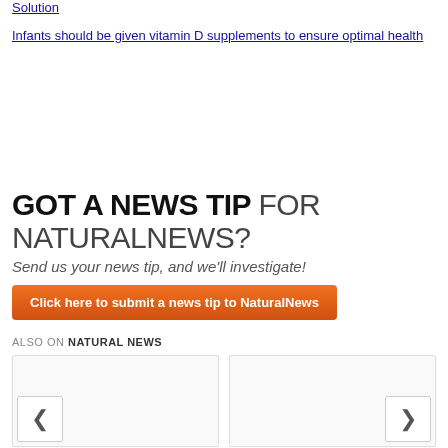Solution
Infants should be given vitamin D supplements to ensure optimal health
[Figure (infographic): GOT A NEWS TIP FOR NATURALNEWS? Send us your news tip, and we'll investigate! Click here to submit a news tip to NaturalNews (orange button)]
ALSO ON NATURAL NEWS
[Figure (screenshot): Two article card placeholders with left and right navigation arrows]